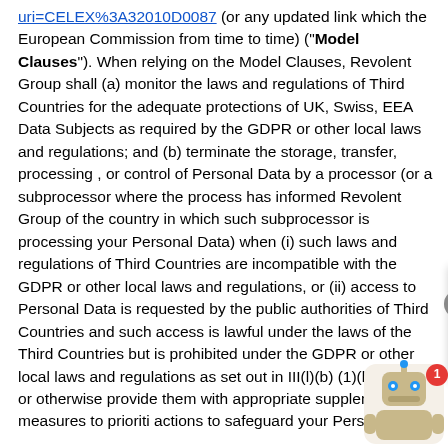uri=CELEX%3A32010D0087 (or any updated link which the European Commission from time to time) ("Model Clauses"). When relying on the Model Clauses, Revolent Group shall (a) monitor the laws and regulations of Third Countries for the adequate protections of UK, Swiss, EEA Data Subjects as required by the GDPR or other local laws and regulations; and (b) terminate the storage, transfer, processing , or control of Personal Data by a processor (or a subprocessor where the process has informed Revolent Group of the country in which such subprocessor is processing your Personal Data) when (i) such laws and regulations of Third Countries are incompatible with the GDPR or other local laws and regulations, or (ii) access to Personal Data is requested by the public authorities of Third Countries and such access is lawful under the laws of the Third Countries but is prohibited under the GDPR or other local laws and regulations as set out in III(l)(b)(1)(b)(i) or (ii) or otherwise provide them with appropriate supplemental measures to prioriti actions to safeguard your Personal Data.
[Figure (other): Chat popup tooltip overlay with close button (X circle icon), text: 'Building your cloud talent pipeline? Or looking to elevate your career? Chat here for information 💬', and a robot/assistant icon with a red badge showing '1' in the bottom right corner.]